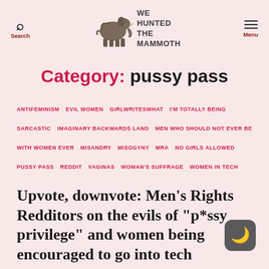Search | WE HUNTED THE MAMMOTH | Menu
Category: pussy pass
ANTIFEMINISM  EVIL WOMEN  GIRLWRITESWHAT  I'M TOTALLY BEING SARCASTIC  IMAGINARY BACKWARDS LAND  MEN WHO SHOULD NOT EVER BE WITH WOMEN EVER  MISANDRY  MISOGYNY  MRA  NO GIRLS ALLOWED  PUSSY PASS  REDDIT  VAGINAS  WOMAN'S SUFFRAGE  WOMEN IN TECH
Upvote, downvote: Men's Rights Redditors on the evils of "p*ssy privilege" and women being encouraged to go into tech